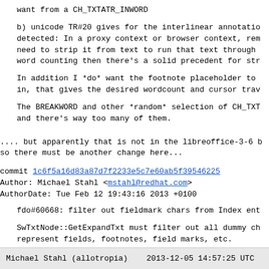want from a CH_TXTATR_INWORD
b) unicode TR#20 gives for the interlinear annotatio
detected: In a proxy context or browser context, rem
need to strip it from text to run that text through
word counting then there's a solid precedent for str
In addition I *do* want the footnote placeholder to
in, that gives the desired wordcount and cursor trav
The BREAKWORD and other *random* selection of CH_TXT
and there's way too many of them.
.... but apparently that is not in the libreoffice-3-6 b
so there must be another change here...
commit 1c6f5a16d83a87d7f2233e5c7e60ab5f39546225
Author:      Michael Stahl <mstahl@redhat.com>
AuthorDate: Tue Feb 12 19:43:16 2013 +0100
fdo#60668: filter out fieldmark chars from Index ent
SwTxtNode::GetExpandTxt must filter out all dummy ch
represent fields, footnotes, field marks, etc.
... hmm but that doesn't do anything with CH_TXTATR_INWO
Michael Stahl (allotropia)    2013-12-05 14:57:25 UTC